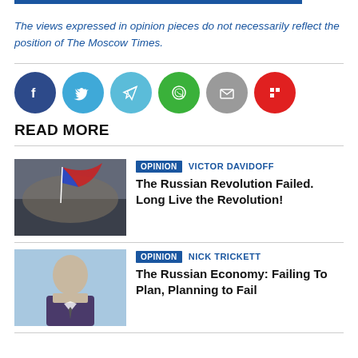The views expressed in opinion pieces do not necessarily reflect the position of The Moscow Times.
[Figure (infographic): Social media sharing icons: Facebook (dark blue), Twitter (light blue), Telegram (light blue), WhatsApp (green), Email (grey), Flipboard (red)]
READ MORE
[Figure (photo): Crowd scene with Russian flag being waved]
OPINION   VICTOR DAVIDOFF
The Russian Revolution Failed. Long Live the Revolution!
[Figure (photo): Portrait of a man in suit against light blue background]
OPINION   NICK TRICKETT
The Russian Economy: Failing To Plan, Planning to Fail